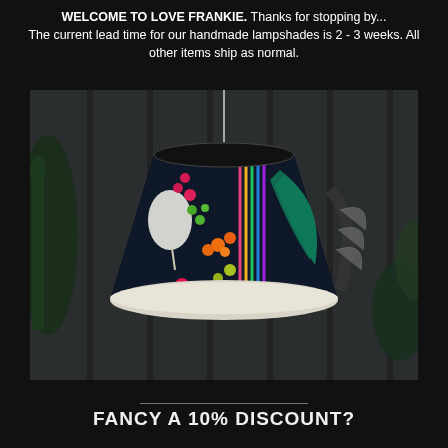WELCOME TO LOVE FRANKIE. Thanks for stopping by... The current lead time for our handmade lampshades is 2 - 3 weeks. All other items ship as normal.
[Figure (photo): A colorful tropical-print lampshade hanging as a pendant light against a dark panelled wall, with large green tropical leaves in the background. The lampshade features vivid floral and botanical patterns on a dark background with a white interior lining.]
FANCY A 10% DISCOUNT?